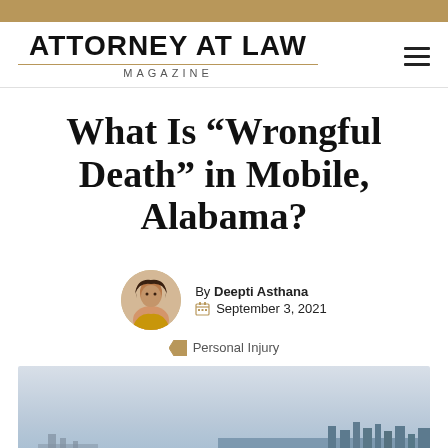ATTORNEY AT LAW MAGAZINE
What Is “Wrongful Death” in Mobile, Alabama?
By Deepti Asthana   September 3, 2021
Personal Injury
[Figure (photo): Aerial view of Mobile, Alabama waterfront and city skyline]